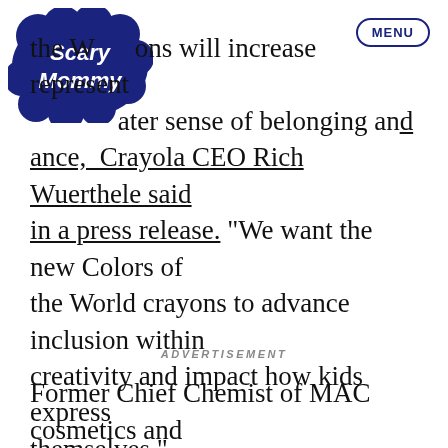[Figure (logo): Scary Mommy logo in dark navy blue, cursive/bubble lettering]
MENU
the W ons will increase represent ater sense of belonging and ance, Crayola CEO Rich Wuerthele said in a press release. “We want the new Colors of the World crayons to advance inclusion within creativity and impact how kids express themselves.”
ADVERTISEMENT
Former Chief Chemist of MAC cosmetics and